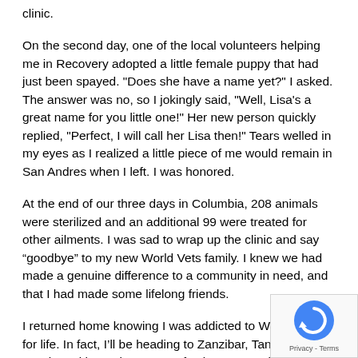clinic.
On the second day, one of the local volunteers helping me in Recovery adopted a little female puppy that had just been spayed. "Does she have a name yet?" I asked. The answer was no, so I jokingly said, "Well, Lisa's a great name for you little one!" Her new person quickly replied, "Perfect, I will call her Lisa then!" Tears welled in my eyes as I realized a little piece of me would remain in San Andres when I left. I was honored.
At the end of our three days in Columbia, 208 animals were sterilized and an additional 99 were treated for other ailments. I was sad to wrap up the clinic and say “goodbye” to my new World Vets family. I knew we had made a genuine difference to a community in need, and that I had made some lifelong friends.
I returned home knowing I was addicted to World Vets for life. In fact, I’ll be heading to Zanzibar, Tanzania this October with another group of volunteers. Fellow volunteer Elizabeth F. DVM, of Palm Harbor, Florida, said it best when she told me could afford to do this work full time, I would in a heartbeat.
[Figure (other): reCAPTCHA badge with circular arrow logo and 'Privacy - Terms' text]